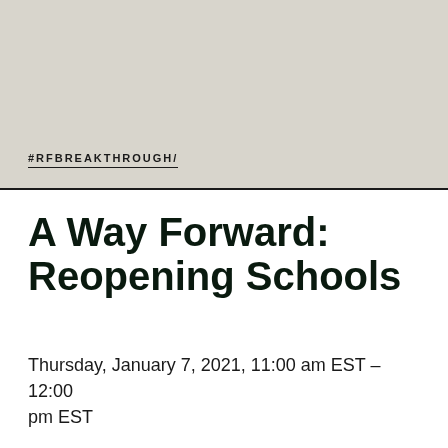[Figure (other): Light gray/beige banner background filling the top portion of the page with the hashtag #RFBREAKTHROUGH/ displayed near the bottom of the banner]
#RFBREAKTHROUGH/
A Way Forward: Reopening Schools
Thursday, January 7, 2021, 11:00 am EST –12:00 pm EST